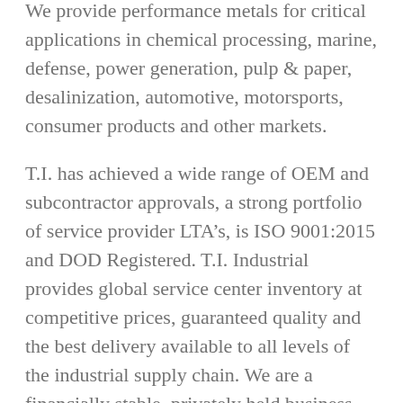We provide performance metals for critical applications in chemical processing, marine, defense, power generation, pulp & paper, desalinization, automotive, motorsports, consumer products and other markets.
T.I. has achieved a wide range of OEM and subcontractor approvals, a strong portfolio of service provider LTA’s, is ISO 9001:2015 and DOD Registered. T.I. Industrial provides global service center inventory at competitive prices, guaranteed quality and the best delivery available to all levels of the industrial supply chain. We are a financially stable, privately held business with a long-term growth plan and a quick decision making process. We stand ready